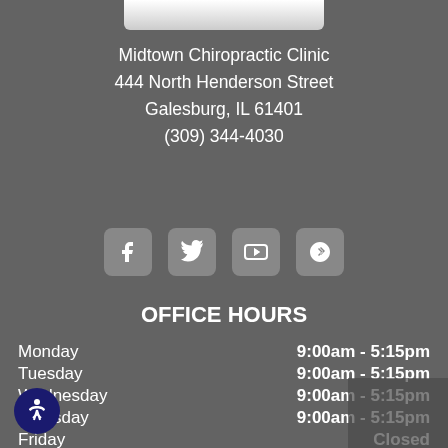Midtown Chiropractic Clinic
444 North Henderson Street
Galesburg, IL 61401
(309) 344-4030
[Figure (infographic): Four social media icon buttons: Facebook, Twitter, YouTube, Yelp — white icons on rounded gray square backgrounds]
OFFICE HOURS
| Day | Hours |
| --- | --- |
| Monday | 9:00am - 5:15pm |
| Tuesday | 9:00am - 5:15pm |
| Wednesday | 9:00am - 5:15pm |
| Thursday | 9:00am - 5:15pm |
| Friday | Closed |
| Saturday | Closed |
| Sunday | Closed |